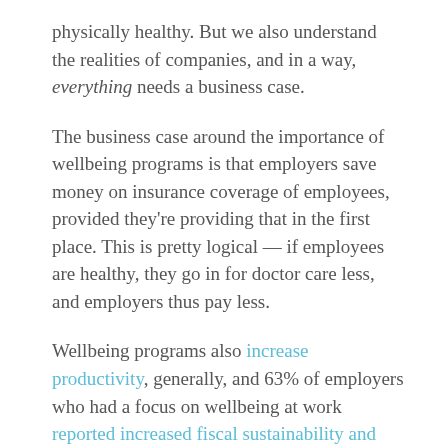physically healthy. But we also understand the realities of companies, and in a way, everything needs a business case.
The business case around the importance of wellbeing programs is that employers save money on insurance coverage of employees, provided they're providing that in the first place. This is pretty logical — if employees are healthy, they go in for doctor care less, and employers thus pay less.
Wellbeing programs also increase productivity, generally, and 63% of employers who had a focus on wellbeing at work reported increased fiscal sustainability and growth. (What's more: U.S. Chamber of Commerce studies have seen a ROI of $1.50 to $3.00 USD per $1 spent on wellbeing at work.)